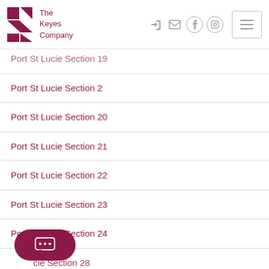The Keyes Company
Port St Lucie Section 19
Port St Lucie Section 2
Port St Lucie Section 20
Port St Lucie Section 21
Port St Lucie Section 22
Port St Lucie Section 23
Port St Lucie Section 24
Port St Lucie Section 28